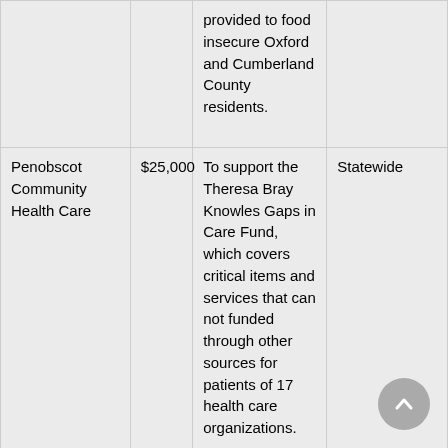|  |  | provided to food insecure Oxford and Cumberland County residents. |  |
| Penobscot Community Health Care | $25,000 | To support the Theresa Bray Knowles Gaps in Care Fund, which covers critical items and services that can not funded through other sources for patients of 17 health care organizations. | Statewide |